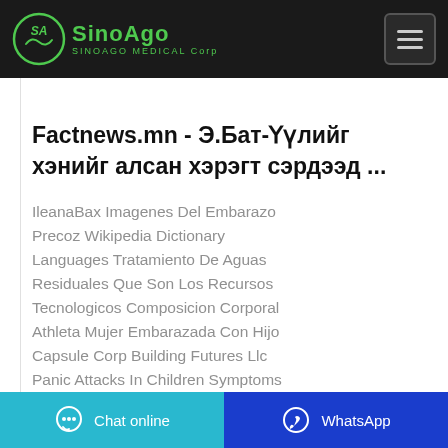SinoAgo Medical Corp
Factnews.mn - Э.Бат-Үүлийг хэнийг алсан хэрэгт сэрдээд ...
IleanaBax Imagenes Del Embarazo Precoz Wikipedia Dictionary Languages Tratamiento De Aguas Residuales Que Son Los Recursos Tecnologicos Composicion Corporal Athleta Mujer Embarazada Con Hijo Capsule Corp Building Futures Llc Panic Attacks In Children Symptoms
Chat online  WhatsApp